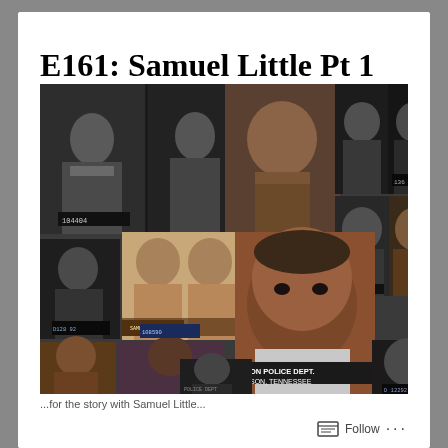E161: Samuel Little Pt 1
[Figure (photo): Collage of multiple mugshot photographs of Samuel Little at various ages and from various law enforcement agencies, including images labeled with police department names and booking numbers such as 'ON POLICE DEPT. SON, TENNESSEE', 'D128 92', '012292', '136 839', '108590', and other booking identifiers. Images are in both black-and-white and color.]
...for the story with Samuel Little...
Follow ...